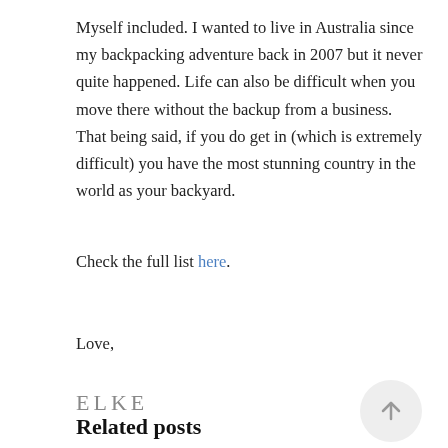Myself included. I wanted to live in Australia since my backpacking adventure back in 2007 but it never quite happened. Life can also be difficult when you move there without the backup from a business. That being said, if you do get in (which is extremely difficult) you have the most stunning country in the world as your backyard.
Check the full list here.
Love,
[Figure (other): Stylized text signature reading ELKE in uppercase spaced letters]
[Figure (other): Circular scroll-to-top button with an upward arrow icon]
Related posts